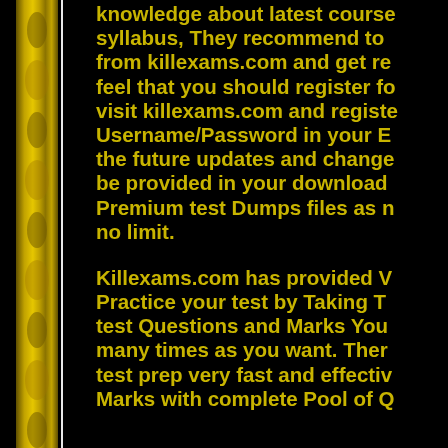knowledge about latest course syllabus, They recommend to from killexams.com and get re feel that you should register fo visit killexams.com and registe Username/Password in your E the future updates and change be provided in your download Premium test Dumps files as n no limit.
Killexams.com has provided V Practice your test by Taking T test Questions and Marks You many times as you want. Ther test prep very fast and effectiv Marks with complete Pool of Q